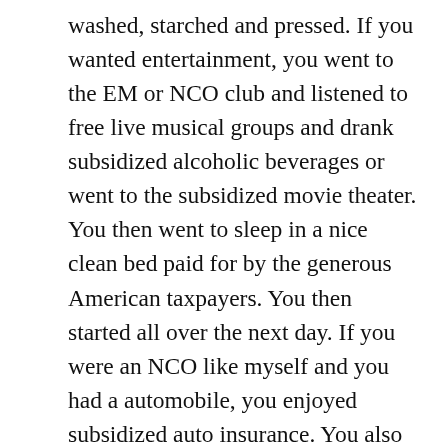washed, starched and pressed. If you wanted entertainment, you went to the EM or NCO club and listened to free live musical groups and drank subsidized alcoholic beverages or went to the subsidized movie theater. You then went to sleep in a nice clean bed paid for by the generous American taxpayers. You then started all over the next day. If you were an NCO like myself and you had a automobile, you enjoyed subsidized auto insurance. You also had paid life insurance and 30 days of paid vacation a year. You could go to school during service, if you had time, or you could wait until you got out to enjoy fully paid college education at a state university. Some military personal also get a stipend while they're attending school.